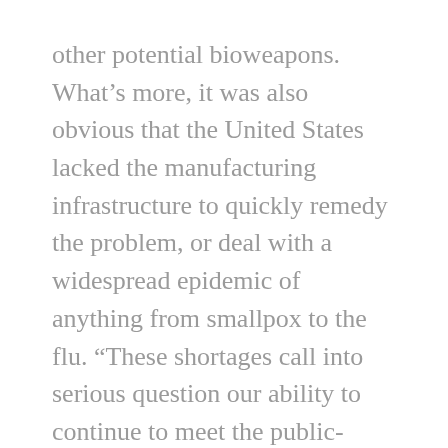other potential bioweapons. What’s more, it was also obvious that the United States lacked the manufacturing infrastructure to quickly remedy the problem, or deal with a widespread epidemic of anything from smallpox to the flu. “These shortages call into serious question our ability to continue to meet the public-health needs of our citizens,” said Senator Jack Reed, a democrat from Rhode Island, at the opening of the hearing.
The situation is largely a result of the failure of market forces to encourage vaccine production, which is a risky and far from lucrative business. Only four large pharmaceutical companies in the world still make vaccines. And while the four manufacturers compete on some vaccines, and